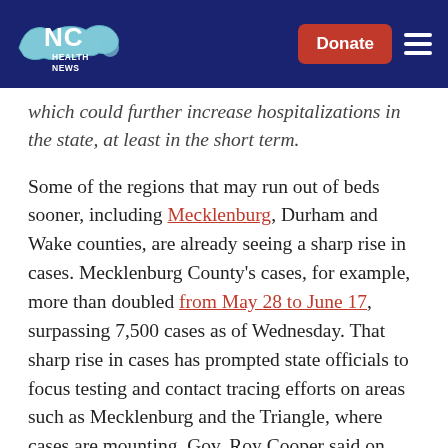NC Health News — Donate | Menu
which could further increase hospitalizations in the state, at least in the short term.
Some of the regions that may run out of beds sooner, including Mecklenburg, Durham and Wake counties, are already seeing a sharp rise in cases. Mecklenburg County's cases, for example, more than doubled from May 28 to June 17, surpassing 7,500 cases as of Wednesday. That sharp rise in cases has prompted state officials to focus testing and contact tracing efforts on areas such as Mecklenburg and the Triangle, where cases are mounting, Gov. Roy Cooper said on Monday.